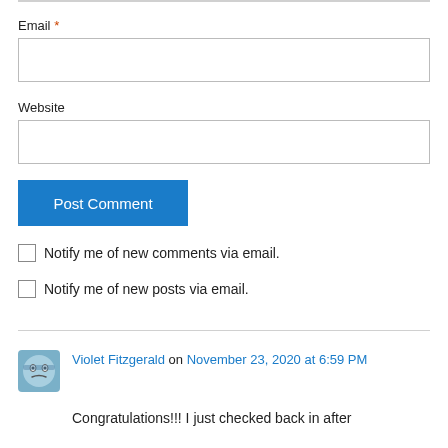Email *
[Figure (screenshot): Empty text input box for Email field]
Website
[Figure (screenshot): Empty text input box for Website field]
[Figure (screenshot): Blue Post Comment button]
Notify me of new comments via email.
Notify me of new posts via email.
Violet Fitzgerald on November 23, 2020 at 6:59 PM
Congratulations!!! I just checked back in after